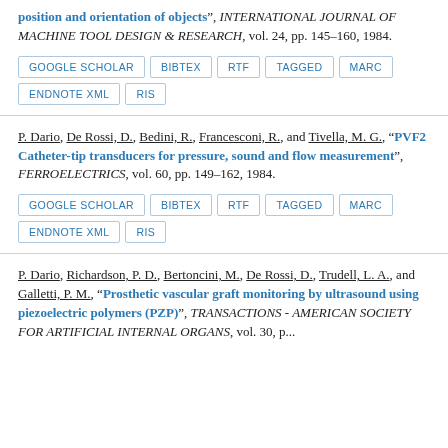position and orientation of objects", INTERNATIONAL JOURNAL OF MACHINE TOOL DESIGN & RESEARCH, vol. 24, pp. 145–160, 1984.
GOOGLE SCHOLAR | BIBTEX | RTF | TAGGED | MARC | ENDNOTE XML | RIS
P. Dario, De Rossi, D., Bedini, R., Francesconi, R., and Tivella, M. G., "PVF2 Catheter-tip transducers for pressure, sound and flow measurement", FERROELECTRICS, vol. 60, pp. 149–162, 1984.
GOOGLE SCHOLAR | BIBTEX | RTF | TAGGED | MARC | ENDNOTE XML | RIS
P. Dario, Richardson, P. D., Bertoncini, M., De Rossi, D., Trudell, L. A., and Galletti, P. M., "Prosthetic vascular graft monitoring by ultrasound using piezoelectric polymers (PZP)", TRANSACTIONS - AMERICAN SOCIETY FOR ARTIFICIAL INTERNAL ORGANS, vol. 30, p...